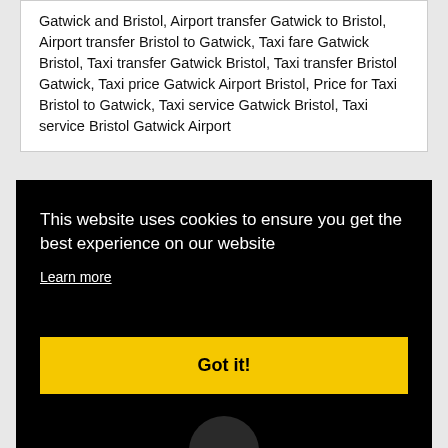Gatwick and Bristol, Airport transfer Gatwick to Bristol, Airport transfer Bristol to Gatwick, Taxi fare Gatwick Bristol, Taxi transfer Gatwick Bristol, Taxi transfer Bristol Gatwick, Taxi price Gatwick Airport Bristol, Price for Taxi Bristol to Gatwick, Taxi service Gatwick Bristol, Taxi service Bristol Gatwick Airport
This website uses cookies to ensure you get the best experience on our website
Learn more
Got it!